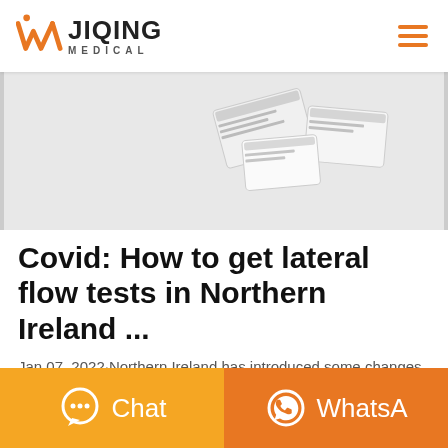[Figure (logo): Jiqing Medical logo with orange W icon and text JIQING MEDICAL]
[Figure (photo): Partial view of lateral flow test kits / packaging on white background]
Covid: How to get lateral flow tests in Northern Ireland ...
Jan 07, 2022·Northern Ireland has introduced some changes to the rules and guidance around use of lateral flow tests and PCR testing to diagnose a
[Figure (other): Orange Chat button with chat bubble icon]
[Figure (other): Dark orange WhatsApp button with WhatsApp phone icon and partial text WhatsA]